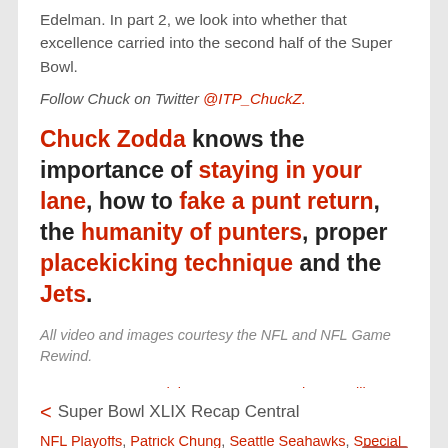Edelman. In part 2, we look into whether that excellence carried into the second half of the Super Bowl.
Follow Chuck on Twitter @ITP_ChuckZ.
Chuck Zodda knows the importance of staying in your lane, how to fake a punt return, the humanity of punters, proper placekicking technique and the Jets.
All video and images courtesy the NFL and NFL Game Rewind.
Tags: Danny Amendola, Jon Ryan, Jonathan Casillas, Julian Edelman, Matthew Slater, New England Patriots, NFL Playoffs, Patrick Chung, Seattle Seahawks, Special Teams, Tavon Wilson
< Super Bowl XLIX Recap Central